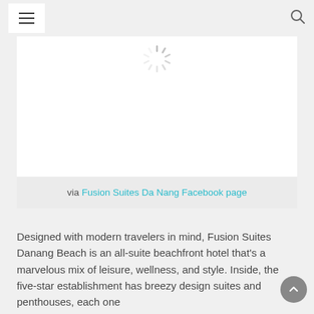[Figure (screenshot): Website navigation bar with hamburger menu icon on the left and search icon on the right, on a light gray background]
[Figure (photo): White image area with a gray loading spinner icon at the top center, indicating an image is loading]
via Fusion Suites Da Nang Facebook page
Designed with modern travelers in mind, Fusion Suites Danang Beach is an all-suite beachfront hotel that’s a marvelous mix of leisure, wellness, and style. Inside, the five-star establishment has breezy design suites and penthouses, each one